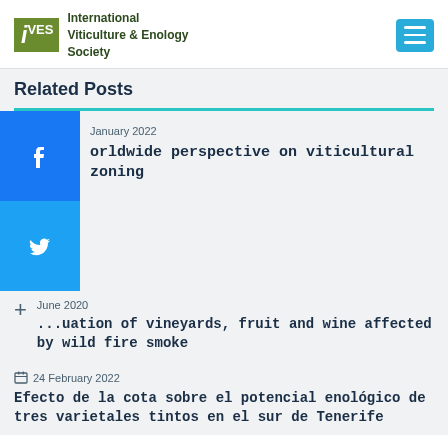[Figure (logo): IVES International Viticulture and Enology Society logo with green background and blue menu button]
Related Posts
January 2022 — worldwide perspective on viticultural zoning
June 2020 — ...uation of vineyards, fruit and wine affected by wild fire smoke
24 February 2022 — Efecto de la cota sobre el potencial enológico de tres varietales tintos en el sur de Tenerife